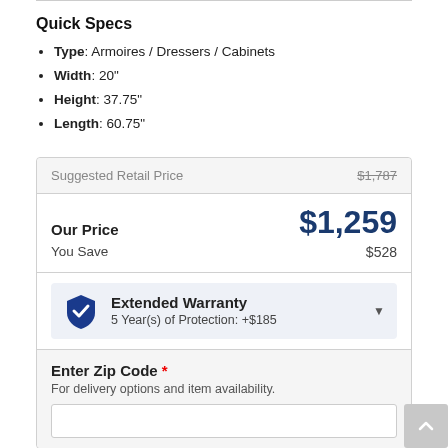Quick Specs
Type: Armoires / Dressers / Cabinets
Width: 20"
Height: 37.75"
Length: 60.75"
| Label | Value |
| --- | --- |
| Suggested Retail Price | $1,787 |
| Our Price | $1,259 |
| You Save | $528 |
Extended Warranty
5 Year(s) of Protection: +$185
Enter Zip Code *
For delivery options and item availability.